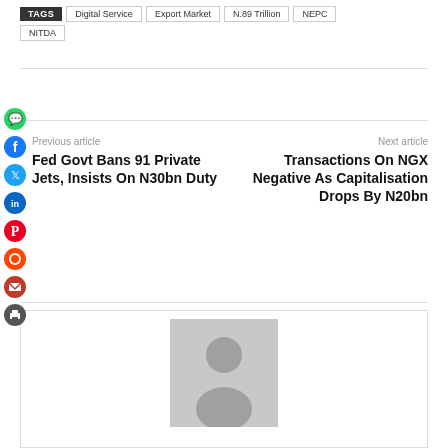TAGS | Digital Service | Export Market | N.89 Trillion | NEPC | NITDA
Previous article — Fed Govt Bans 91 Private Jets, Insists On N30bn Duty
Next article — Transactions On NGX Negative As Capitalisation Drops By N20bn
[Figure (illustration): Generic user avatar placeholder image — grey silhouette of a person on light grey background]